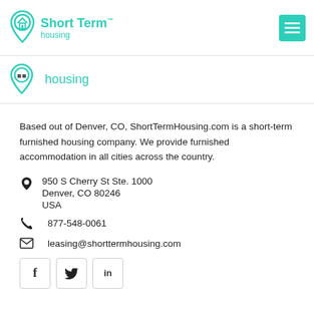[Figure (logo): Short Term housing logo with teal location pin icon and teal text 'Short Term housing']
[Figure (logo): Partial Short Term housing logo showing pin icon and 'housing' text (scroll artifact)]
Based out of Denver, CO, ShortTermHousing.com is a short-term furnished housing company. We provide furnished accommodation in all cities across the country.
950 S Cherry St Ste. 1000
Denver, CO 80246
USA
877-548-0061
leasing@shorttermhousing.com
[Figure (other): Social media buttons: Facebook (f), Twitter (bird/t), LinkedIn (in)]